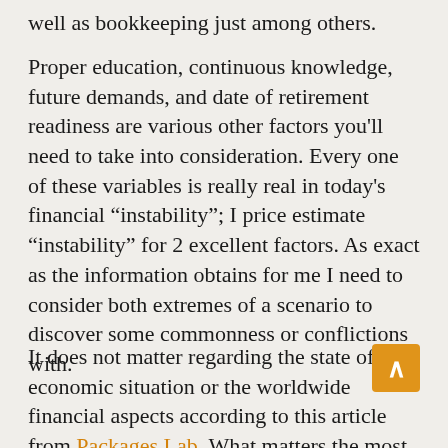well as bookkeeping just among others.
Proper education, continuous knowledge, future demands, and date of retirement readiness are various other factors you'll need to take into consideration. Every one of these variables is really real in today's financial “instability”; I price estimate “instability” for 2 excellent factors. As exact as the information obtains for me I need to consider both extremes of a scenario to discover some commonness or conflictions with.
It does not matter regarding the state of the economic situation or the worldwide financial aspects according to this article from Packages Lab. What matters the most